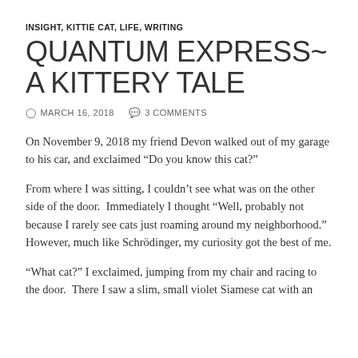INSIGHT, KITTIE CAT, LIFE, WRITING
QUANTUM EXPRESS~ A KITTERY TALE
MARCH 16, 2018   3 COMMENTS
On November 9, 2018 my friend Devon walked out of my garage to his car, and exclaimed “Do you know this cat?”
From where I was sitting, I couldn’t see what was on the other side of the door.  Immediately I thought “Well, probably not because I rarely see cats just roaming around my neighborhood.” However, much like Schrödinger, my curiosity got the best of me.
“What cat?” I exclaimed, jumping from my chair and racing to the door.  There I saw a slim, small violet Siamese cat with an